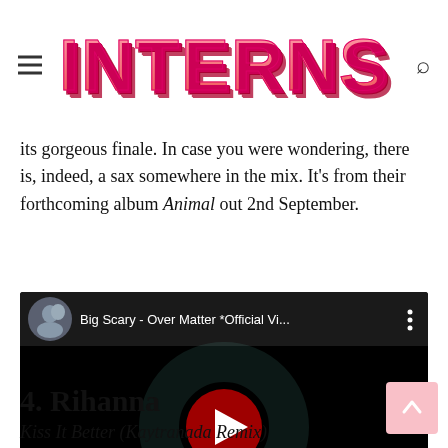INTERNS
its gorgeous finale. In case you were wondering, there is, indeed, a sax somewhere in the mix. It's from their forthcoming album Animal out 2nd September.
[Figure (screenshot): YouTube embedded video player showing 'Big Scary - Over Matter *Official Vi...' with play button on black background]
4. Rihanna
Kiss It Better (Kaytranada Remix)